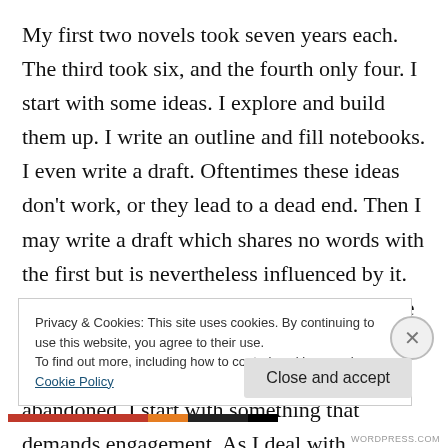My first two novels took seven years each. The third took six, and the fourth only four. I start with some ideas. I explore and build them up. I write an outline and fill notebooks. I even write a draft. Oftentimes these ideas don't work, or they lead to a dead end. Then I may write a draft which shares no words with the first but is nevertheless influenced by it. The first draft of “Exit West” looked like the final product – the first time it happened – though many ideas from the draft were abandoned. I start with something that demands engagement. As I deal with
Privacy & Cookies: This site uses cookies. By continuing to use this website, you agree to their use.
To find out more, including how to control cookies, see here: Cookie Policy
Close and accept